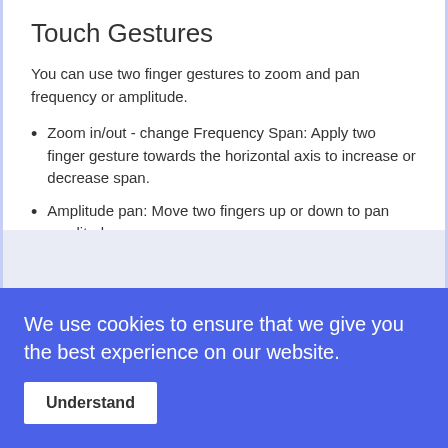Touch Gestures
You can use two finger gestures to zoom and pan frequency or amplitude.
Zoom in/out - change Frequency Span: Apply two finger gesture towards the horizontal axis to increase or decrease span.
Amplitude pan: Move two fingers up or down to pan amplitude
Frequency pan: Move two fingers left or right to pan frequency
[Figure (screenshot): Light grey rectangular area at the bottom of the content section]
We use cookies to ensure that we give you the best experience on our website.
Understand